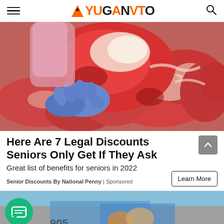YUGANVTO
[Figure (photo): Butcher with blue glove holding a large cut of raw beef over a display of raw meat cuts]
Here Are 7 Legal Discounts Seniors Only Get If They Ask
Great list of benefits for seniors in 2022
Senior Discounts By National Penny | Sponsored
[Figure (photo): Partially visible street art or graffiti scene with figures, with a green circular chat/message button overlay in the lower left]